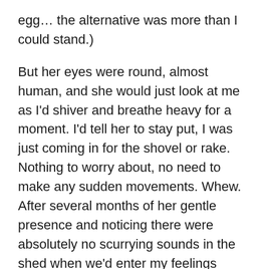egg… the alternative was more than I could stand.)
But her eyes were round, almost human, and she would just look at me as I'd shiver and breathe heavy for a moment. I'd tell her to stay put, I was just coming in for the shovel or rake. Nothing to worry about, no need to make any sudden movements. Whew. After several months of her gentle presence and noticing there were absolutely no scurrying sounds in the shed when we'd enter my feelings changed.
So, back to present tense, the true snake fear I had has all but melted. I know what I'm looking for and I am cautious and aware of my surroundings when out digging around, pulling weeds or picking up trash. I've got this.
So, in the moment of me telling myself a scary story, I